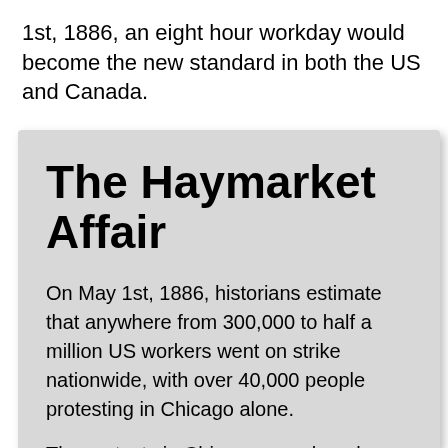1st, 1886, an eight hour workday would become the new standard in both the US and Canada.
The Haymarket Affair
On May 1st, 1886, historians estimate that anywhere from 300,000 to half a million US workers went on strike nationwide, with over 40,000 people protesting in Chicago alone.
The protests in Chicago were largely